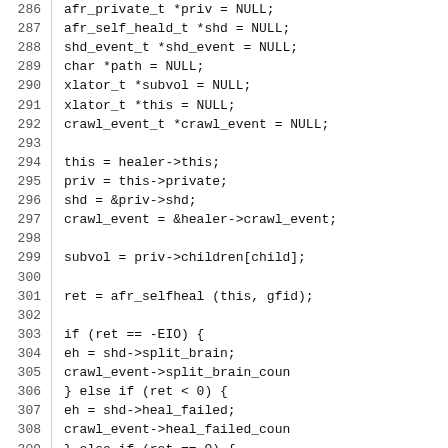Source code listing, lines 286–315
286    afr_private_t *priv = NULL;
287    afr_self_heald_t *shd = NULL;
288    shd_event_t *shd_event = NULL;
289    char *path = NULL;
290    xlator_t *subvol = NULL;
291    xlator_t *this = NULL;
292    crawl_event_t *crawl_event = NULL;
293
294    this = healer->this;
295    priv = this->private;
296    shd = &priv->shd;
297    crawl_event = &healer->crawl_event;
298
299    subvol = priv->children[child];
300
301    ret = afr_selfheal (this, gfid);
302
303    if (ret == -EIO) {
304            eh = shd->split_brain;
305            crawl_event->split_brain_coun
306    } else if (ret < 0) {
307            eh = shd->heal_failed;
308            crawl_event->heal_failed_coun
309    } else if (ret == 0) {
310            eh = shd->healed;
311            crawl_event->healed_count++;
312    }
313
314    afr_shd_gfid_to_path (this, subvol, g
315    if (!path)